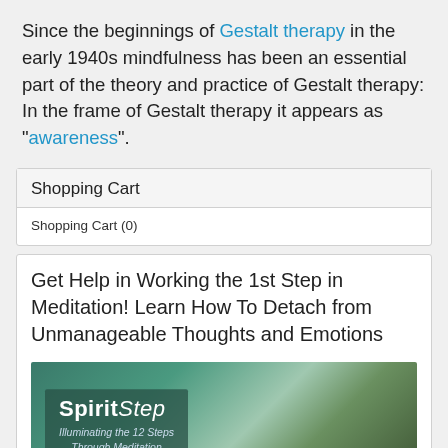Since the beginnings of Gestalt therapy in the early 1940s mindfulness has been an essential part of the theory and practice of Gestalt therapy: In the frame of Gestalt therapy it appears as "awareness".
Shopping Cart
Shopping Cart (0)
Get Help in Working the 1st Step in Meditation! Learn How To Detach from Unmanageable Thoughts and Emotions
[Figure (illustration): SpiritStep logo image with dark teal background. Text reads 'SpiritStep' in bold white letters with italic subtitle 'Illuminating the 12 Steps Through Meditation'. Background shows a forest/nature scene.]